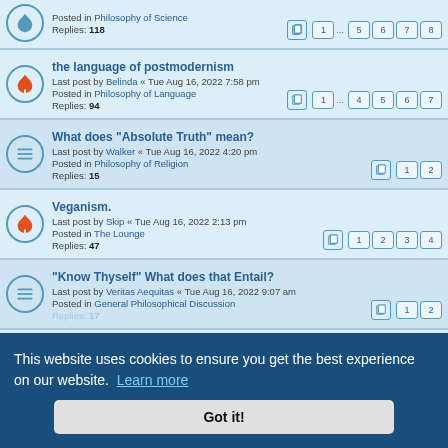Posted in Philosophy of Science
Replies: 118
Pages: 1 ... 5 6 7 8
the language of postmodernism
Last post by Belinda « Tue Aug 16, 2022 7:58 pm
Posted in Philosophy of Language
Replies: 94
Pages: 1 ... 4 5 6 7
What does "Absolute Truth" mean?
Last post by Walker « Tue Aug 16, 2022 4:20 pm
Posted in Philosophy of Religion
Replies: 15
Pages: 1 2
Veganism.
Last post by Skip « Tue Aug 16, 2022 2:13 pm
Posted in The Lounge
Replies: 47
Pages: 1 2 3 4
"Know Thyself" What does that Entail?
Last post by Veritas Aequitas « Tue Aug 16, 2022 9:07 am
Posted in General Philosophical Discussion
Replies: 17
Pages: 1 2
the lure of passions...
Posted in General Philosophical Discussion
Replies: 31
Pages: 1 2 3
Free will and determinism
Last post by someone « Tue Aug 16, 2022 7:08 am
Posted in Metaphysics
Replies: 101
Pages: 1 ... 4 5 6 7
This website uses cookies to ensure you get the best experience on our website. Learn more
Got it!